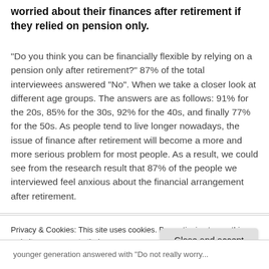worried about their finances after retirement if they relied on pension only.
"Do you think you can be financially flexible by relying on a pension only after retirement?" 87% of the total interviewees answered "No". When we take a closer look at different age groups. The answers are as follows: 91% for the 20s, 85% for the 30s, 92% for the 40s, and finally 77% for the 50s. As people tend to live longer nowadays, the issue of finance after retirement will become a more and more serious problem for most people. As a result, we could see from the research result that 87% of the people we interviewed feel anxious about the financial arrangement after retirement.
Privacy & Cookies: This site uses cookies. By continuing to use this website, you agree to their use.
To find out more, including how to control cookies, see here: Cookie Policy
younger generation answered with "Do not really worry...